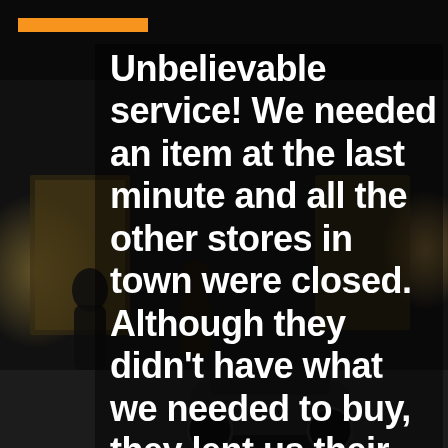[Figure (photo): Night street scene outside a store with people visible and a motorcycle in the foreground. Dark background with warm interior store lighting.]
Unbelievable service! We needed an item at the last minute and all the other stores in town were closed. Although they didn't have what we needed to buy, they lent us their personal one and Adam brought it to where we were! I would give 10 stars if I